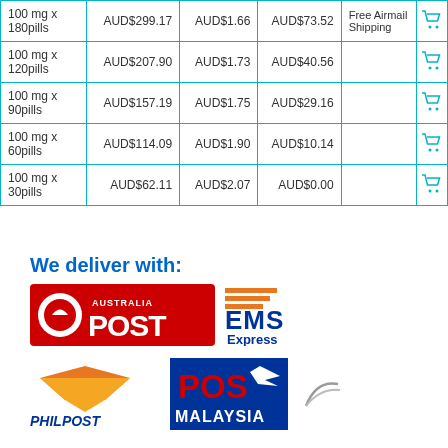| Package | Price | Per Pill | Savings | Shipping |  |
| --- | --- | --- | --- | --- | --- |
| 100 mg x 180pills | AUD$299.17 | AUD$1.66 | AUD$73.52 | Free Airmail Shipping |  |
| 100 mg x 120pills | AUD$207.90 | AUD$1.73 | AUD$40.56 |  |  |
| 100 mg x 90pills | AUD$157.19 | AUD$1.75 | AUD$29.16 |  |  |
| 100 mg x 60pills | AUD$114.09 | AUD$1.90 | AUD$10.14 |  |  |
| 100 mg x 30pills | AUD$62.11 | AUD$2.07 | AUD$0.00 |  |  |
We deliver with:
[Figure (logo): Australia Post logo - red background with circular logo and POST text]
[Figure (logo): EMS Express logo with orange/blue stripes and text]
[Figure (logo): PhilPost logo - orange envelope with blue text]
[Figure (logo): POS Malaysia logo - blue box with red POS text]
[Figure (logo): Airline logo - small grey/silver logo]